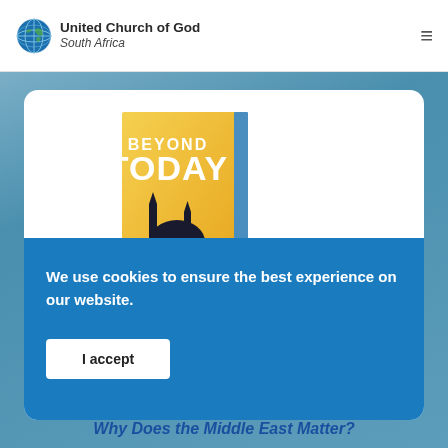United Church of God South Africa
[Figure (illustration): Beyond Today magazine cover showing silhouette of mosque/minaret against yellow/orange background with text BEYOND TODAY]
We use cookies to ensure the best experience on our website.
I accept
Why Does the Middle East Matter?